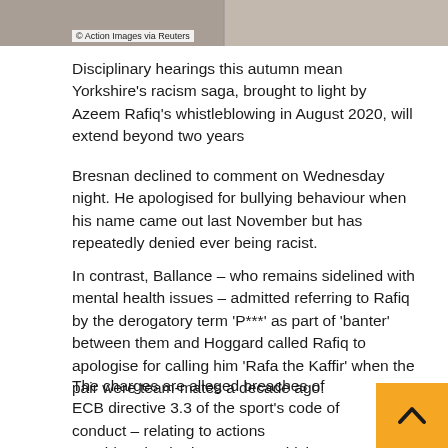[Figure (photo): Cropped image strip at the top of the page, partially visible photograph]
© Action Images via Reuters
Disciplinary hearings this autumn mean Yorkshire’s racism saga, brought to light by Azeem Rafiq’s whistleblowing in August 2020, will extend beyond two years
Bresnan declined to comment on Wednesday night. He apologised for bullying behaviour when his name came out last November but has repeatedly denied ever being racist.
In contrast, Ballance – who remains sidelined with mental health issues – admitted referring to Rafiq by the derogatory term ‘P***’ as part of ‘banter’ between them and Hoggard called Rafiq to apologise for calling him ‘Rafa the Kaffir’ when the pair were team-mates a decade ago.
The charges are alleged breaches of ECB directive 3.3 of the sport’s code of conduct – relating to actions considered to be improper or which may be prejudicial to the interests of cricket or which may bring the ECB, the game of c... or any cricketer into disrepute – and its anti-discrimination...